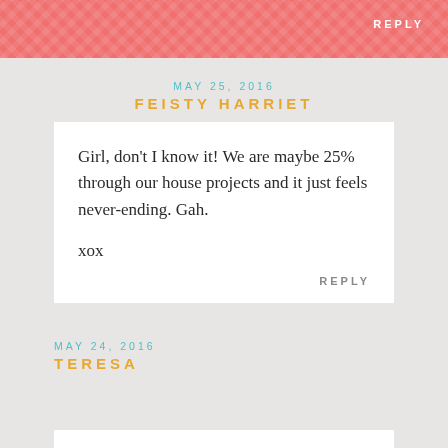REPLY
MAY 25, 2016
FEISTY HARRIET
Girl, don't I know it! We are maybe 25% through our house projects and it just feels never-ending. Gah.

xox
REPLY
MAY 24, 2016
TERESA